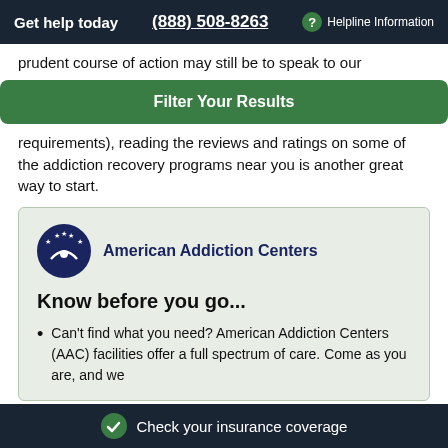Get help today  (888) 508-8263  ? Helpline Information
prudent course of action may still be to speak to our
Filter Your Results
requirements), reading the reviews and ratings on some of the addiction recovery programs near you is another great way to start.
[Figure (logo): American Addiction Centers logo: dark blue circle with stars and figure, next to text 'American Addiction Centers']
Know before you go...
Can't find what you need? American Addiction Centers (AAC) facilities offer a full spectrum of care. Come as you are, and we
Check your insurance coverage